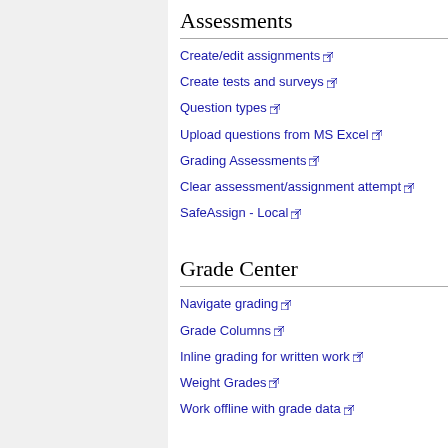Assessments
Create/edit assignments
Create tests and surveys
Question types
Upload questions from MS Excel
Grading Assessments
Clear assessment/assignment attempt
SafeAssign - Local
Grade Center
Navigate grading
Grade Columns
Inline grading for written work
Weight Grades
Work offline with grade data